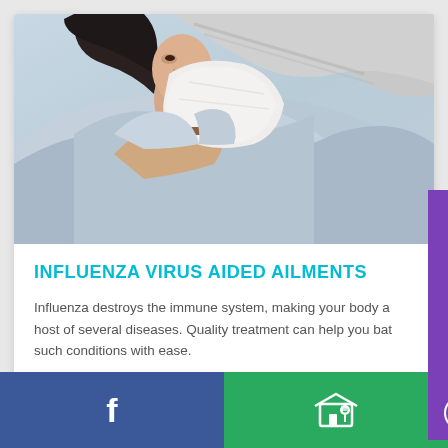[Figure (photo): Woman wrapped in a gray blanket blowing her nose into a tissue, appearing ill with influenza]
INFLUENZA VIRUS AIDED AILMENTS
Influenza destroys the immune system, making your body a host of several diseases. Quality treatment can help you bat such conditions with ease.
VIEW DETAILS
BOOK AN APPOINTMENT